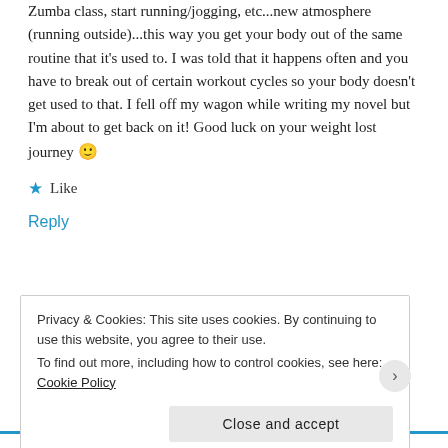Zumba class, start running/jogging, etc...new atmosphere (running outside)...this way you get your body out of the same routine that it's used to. I was told that it happens often and you have to break out of certain workout cycles so your body doesn't get used to that. I fell off my wagon while writing my novel but I'm about to get back on it! Good luck on your weight lost journey 🙂
★ Like
Reply
Privacy & Cookies: This site uses cookies. By continuing to use this website, you agree to their use. To find out more, including how to control cookies, see here: Cookie Policy
Close and accept